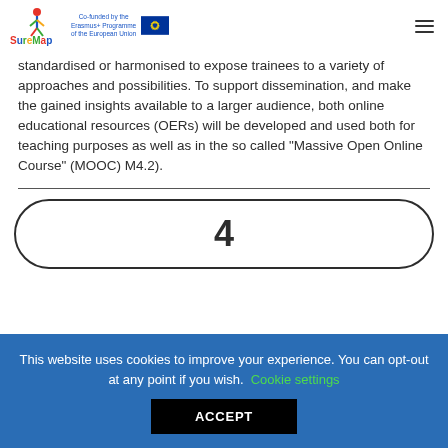SureMap | Co-funded by the Erasmus+ Programme of the European Union
standardised or harmonised to expose trainees to a variety of approaches and possibilities. To support dissemination, and make the gained insights available to a larger audience, both online educational resources (OERs) will be developed and used both for teaching purposes as well as in the so called “Massive Open Online Course” (MOOC) M4.2).
4
This website uses cookies to improve your experience. You can opt-out at any point if you wish. Cookie settings ACCEPT